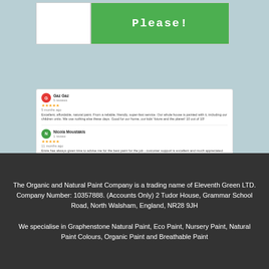[Figure (screenshot): Green banner with white text reading 'Please!' on a white card]
[Figure (screenshot): Google reviews widget showing three customer reviews for The Organic and Natural Paint Company]
The Organic and Natural Paint Company is a trading name of Eleventh Green LTD. Company Number: 10357888. (Accounts Only) 2 Tudor House, Grammar School Road, North Walsham, England, NR28 9JH
We specialise in Graphenstone Natural Paint, Eco Paint, Nursery Paint, Natural Paint Colours, Organic Paint and Breathable Paint